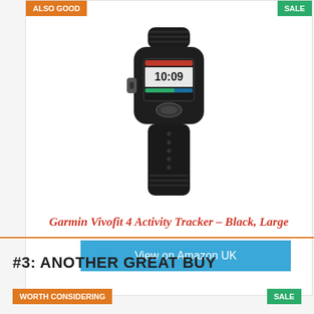[Figure (photo): Garmin Vivofit 4 Activity Tracker in black, large size — a fitness wristband with a color display showing 10:09]
Garmin Vivofit 4 Activity Tracker – Black, Large
View on Amazon UK
#3: ANOTHER GREAT BUY
ALSO GOOD
SALE
WORTH CONSIDERING
SALE